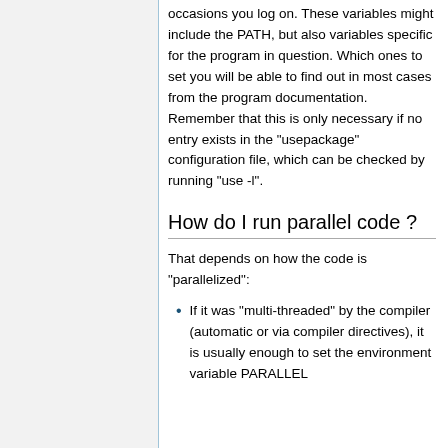occasions you log on. These variables might include the PATH, but also variables specific for the program in question. Which ones to set you will be able to find out in most cases from the program documentation. Remember that this is only necessary if no entry exists in the "usepackage" configuration file, which can be checked by running "use -l".
How do I run parallel code ?
That depends on how the code is "parallelized":
If it was "multi-threaded" by the compiler (automatic or via compiler directives), it is usually enough to set the environment variable PARALLEL